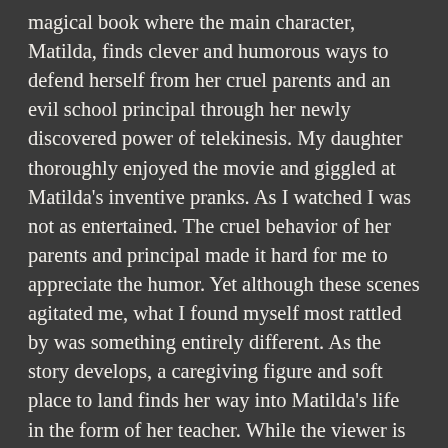magical book where the main character, Matilda, finds clever and humorous ways to defend herself from her cruel parents and an evil school principal through her newly discovered power of telekinesis. My daughter thoroughly enjoyed the movie and giggled at Matilda's inventive pranks. As I watched I was not as entertained. The cruel behavior of her parents and principal made it hard for me to appreciate the humor. Yet although these scenes agitated me, what I found myself most rattled by was something entirely different. As the story develops, a caregiving figure and soft place to land finds her way into Matilda's life in the form of her teacher. While the viewer is intended to feel warm and comforted by Matilda receiving this kind of loving and attentive care, I was overcome with internal agitation in response to these scenes. I couldn't assess what I was feeling in that moment as I sat in my parent's family room alongside not only my children but my mother as well. Without